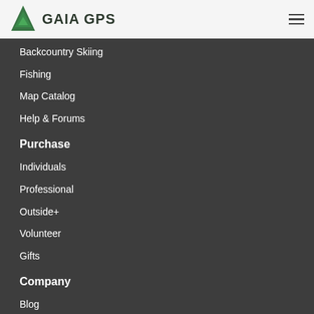GAIA GPS
Backcountry Skiing
Fishing
Map Catalog
Help & Forums
Purchase
Individuals
Professional
Outside+
Volunteer
Gifts
Company
Blog